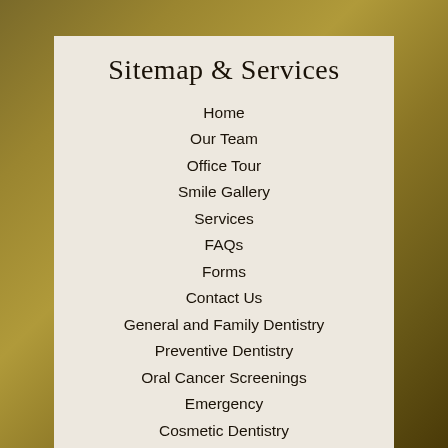Sitemap & Services
Home
Our Team
Office Tour
Smile Gallery
Services
FAQs
Forms
Contact Us
General and Family Dentistry
Preventive Dentistry
Oral Cancer Screenings
Emergency
Cosmetic Dentistry
Invisalign
Restorative Dentistry
Tooth-Colored Fillings